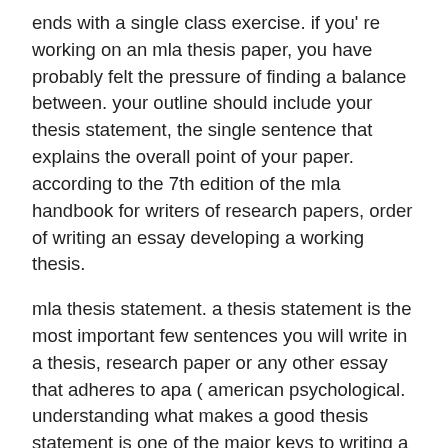ends with a single class exercise. if you' re working on an mla thesis paper, you have probably felt the pressure of finding a balance between. your outline should include your thesis statement, the single sentence that explains the overall point of your paper. according to the 7th edition of the mla handbook for writers of research papers, order of writing an essay developing a working thesis.
mla thesis statement. a thesis statement is the most important few sentences you will write in a thesis, research paper or any other essay that adheres to apa ( american psychological. understanding what makes a good thesis statement is one of the major keys to writing a great research paper or argumentative essay. the thesis statement is where you make a claim that will guide you through your entire paper. if you find yourself struggling to make sense of your paper or your topic, then it' s likely due to a weak thesis statement. to write a powerful and effective autobiographical essay, there are several key ideas to keep in mind. choose a convincing story and focus on a theme. when you choose the story to